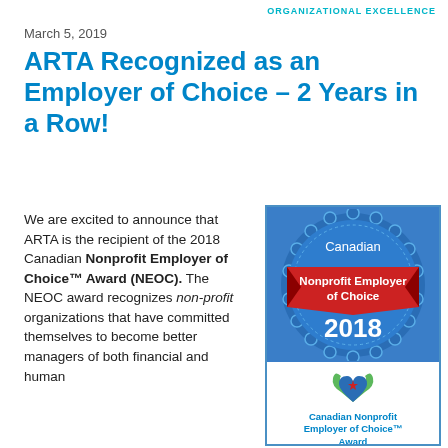ORGANIZATIONAL EXCELLENCE
March 5, 2019
ARTA Recognized as an Employer of Choice – 2 Years in a Row!
We are excited to announce that ARTA is the recipient of the 2018 Canadian Nonprofit Employer of Choice™ Award (NEOC). The NEOC award recognizes non-profit organizations that have committed themselves to become better managers of both financial and human...
[Figure (logo): Canadian Nonprofit Employer of Choice Award 2018 badge — circular badge in blue with scalloped edge, red ribbon banner reading 'Nonprofit Employer of Choice', year '2018', and CNEOC logo below with text 'Canadian Nonprofit Employer of Choice™ Award' and 'neoc.ca']